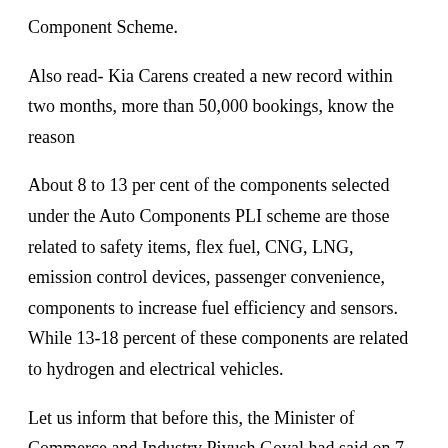Component Scheme.
Also read- Kia Carens created a new record within two months, more than 50,000 bookings, know the reason
About 8 to 13 per cent of the components selected under the Auto Components PLI scheme are those related to safety items, flex fuel, CNG, LNG, emission control devices, passenger convenience, components to increase fuel efficiency and sensors. While 13-18 percent of these components are related to hydrogen and electrical vehicles.
Let us inform that before this, the Minister of Commerce and Industry Piyush Goyal had said on 7 March that initiatives like the announcement made in the budget and the PLI scheme have been taken to make India self-reliant and move forward on the path of sustainable development. On 11 February 2022, the government had